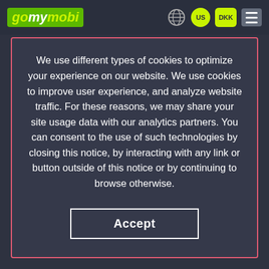gomymobi US DKK
We use different types of cookies to optimize your experience on our website. We use cookies to improve user experience, and analyze website traffic. For these reasons, we may share your site usage data with our analytics partners. You can consent to the use of such technologies by closing this notice, by interacting with any link or button outside of this notice or by continuing to browse otherwise.
Accept